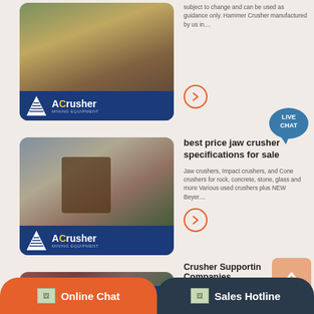[Figure (photo): Mining/quarry site with heavy equipment and ACrusher logo overlay]
subject to change and can be used as guidance only. Hammer Crusher manufactured by us in....
[Figure (photo): Jaw crusher operation at quarry site with ACrusher logo overlay]
best price jaw crusher specifications for sale
Jaw crushers, Impact crushers, and Cone crushers for rock, concrete, stone, glass and more Various used crushers plus NEW Beyer...
[Figure (photo): Industrial crusher machinery at site with ACrusher logo overlay]
Crusher Supportin Companies
Crusher Manufacturers Suppliers Iqs Directory. Crusher manufacturers and companies find crusher companies that can design engineer a...